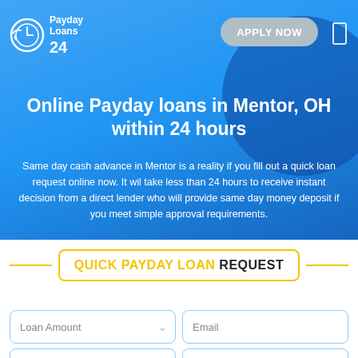[Figure (logo): Payday Loans 24 logo with clock icon]
Online Payday loans in Mentor, OH within 24 hours
Same day cash advance in Mentor is a reality if you fill out a quick loan request online now. It wil take less than 24 hours to receive instant decision from a direct lender who will provide same day money deposit if you meet simple approval requirements.
QUICK PAYDAY LOAN REQUEST
Loan Amount
Email
First Name
Last Name